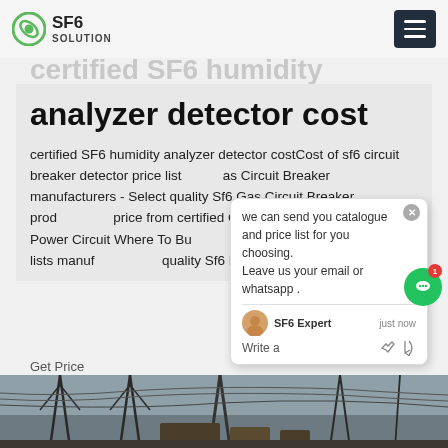SF6 SOLUTION
analyzer detector cost
certified SF6 humidity analyzer detector costCost of sf6 circuit breaker detector price list ... as Circuit Breaker manufacturers - Select quality Sf6 Gas Circuit Breaker products price from certified Chinese Protection Low Power Circuit Where To Buy ... sf6 test price list. This page lists manufacturers of quality Sf6 Moisture Analyzer
Get Price
[Figure (photo): Outdoor electrical substation with power line towers and infrastructure, viewed from below at an angle]